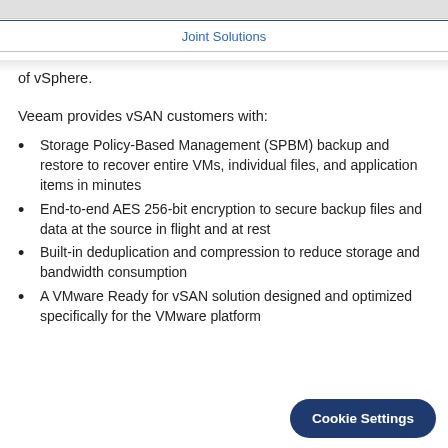Joint Solutions
of vSphere.
Veeam provides vSAN customers with:
Storage Policy-Based Management (SPBM) backup and restore to recover entire VMs, individual files, and application items in minutes
End-to-end AES 256-bit encryption to secure backup files and data at the source in flight and at rest
Built-in deduplication and compression to reduce storage and bandwidth consumption
A VMware Ready for vSAN solution designed and optimized specifically for the VMware platform